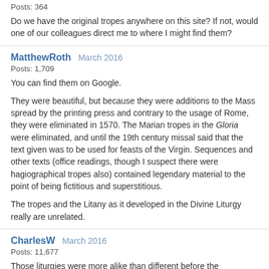Posts: 364
Do we have the original tropes anywhere on this site? If not, would one of our colleagues direct me to where I might find them?
MatthewRoth   March 2016
Posts: 1,709
You can find them on Google.

They were beautiful, but because they were additions to the Mass spread by the printing press and contrary to the usage of Rome, they were eliminated in 1570. The Marian tropes in the Gloria were eliminated, and until the 19th century missal said that the text given was to be used for feasts of the Virgin. Sequences and other texts (office readings, though I suspect there were hagiographical tropes also) contained legendary material to the point of being fictitious and superstitious.

The tropes and the Litany as it developed in the Divine Liturgy really are unrelated.
CharlesW   March 2016
Posts: 11,677
Those liturgies were more alike than different before the barbarians invaded Rome. Afterwards, they drifted apart. The liturgies celebrated by